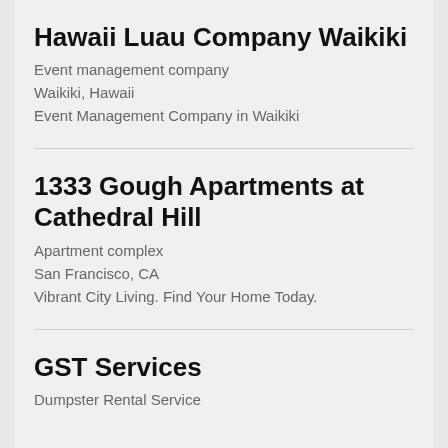Hawaii Luau Company Waikiki
Event management company
Waikiki, Hawaii
Event Management Company in Waikiki
1333 Gough Apartments at Cathedral Hill
Apartment complex
San Francisco, CA
Vibrant City Living. Find Your Home Today.
GST Services
Dumpster Rental Service